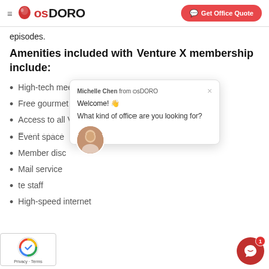osDORO — Get Office Quote
episodes.
Amenities included with Venture X membership include:
High-tech meeting rooms
Free gourmet col…
Access to all Ven…
Event space
Member disc…nt
Mail service
…te staff
High-speed internet
[Figure (screenshot): Chat popup from Michelle Chen from osDORO saying: Welcome! 👋 What kind of office are you looking for?]
[Figure (screenshot): reCAPTCHA badge with Privacy - Terms text]
[Figure (screenshot): Red chat button with notification badge showing 1]